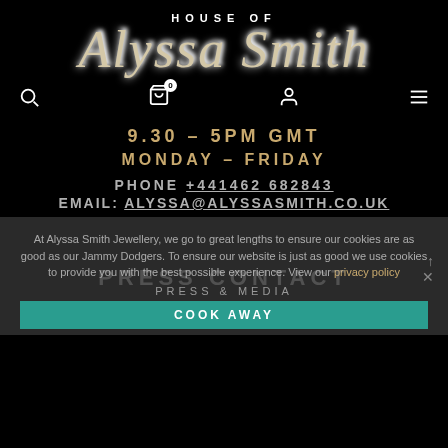HOUSE OF
Alyssa Smith
9.30 – 5PM GMT
MONDAY – FRIDAY
PHONE +441462 682843
EMAIL: ALYSSA@ALYSSASMITH.CO.UK
At Alyssa Smith Jewellery, we go to great lengths to ensure our cookies are as good as our Jammy Dodgers. To ensure our website is just as good we use cookies to provide you with the best possible experience. View our privacy policy
PRESS CONTACT
PRESS & MEDIA
COOK AWAY